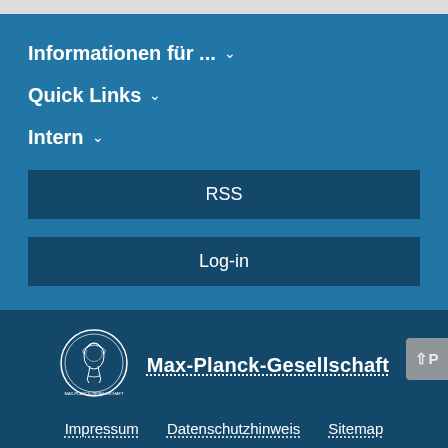Informationen für ... ∨
Quick Links ∨
Intern ∨
RSS
Log-in
[Figure (logo): Max-Planck-Gesellschaft circular medallion logo with profile of Minerva]
Max-Planck-Gesellschaft
Impressum   Datenschutzhinweis   Sitemap
© 2022, Max-Planck-Gesellschaft